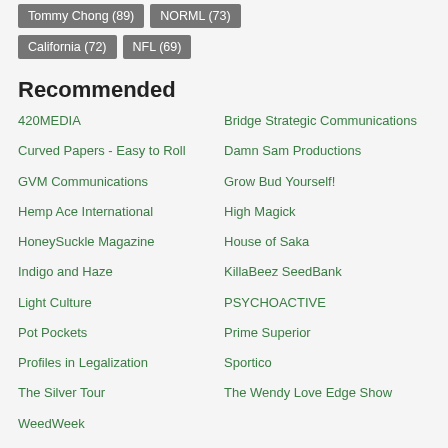Tommy Chong (89)
NORML (73)
California (72)
NFL (69)
Recommended
420MEDIA
Bridge Strategic Communications
Curved Papers - Easy to Roll
Damn Sam Productions
GVM Communications
Grow Bud Yourself!
Hemp Ace International
High Magick
HoneySuckle Magazine
House of Saka
Indigo and Haze
KillaBeez SeedBank
Light Culture
PSYCHOACTIVE
Pot Pockets
Prime Superior
Profiles in Legalization
Sportico
The Silver Tour
The Wendy Love Edge Show
WeedWeek
Gold Stone Placello